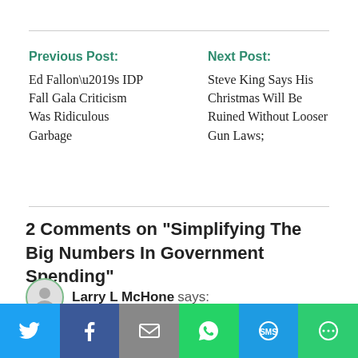Previous Post:
Ed Fallon’s IDP Fall Gala Criticism Was Ridiculous Garbage
Next Post:
Steve King Says His Christmas Will Be Ruined Without Looser Gun Laws;
2 Comments on "Simplifying The Big Numbers In Government Spending"
Larry L McHone says:
If Iowa GOP Leaders keep backing Trump in all he does,